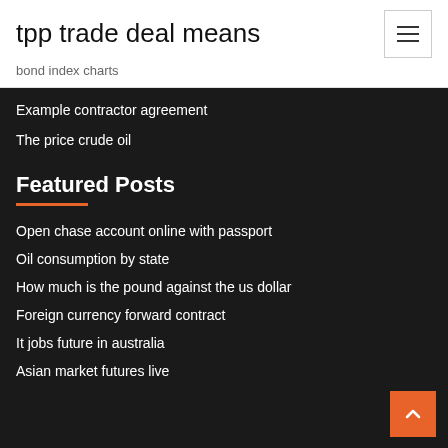tpp trade deal means
bond index charts
Example contractor agreement
The price crude oil
Featured Posts
Open chase account online with passport
Oil consumption by state
How much is the pound against the us dollar
Foreign currency forward contract
It jobs future in australia
Asian market futures live